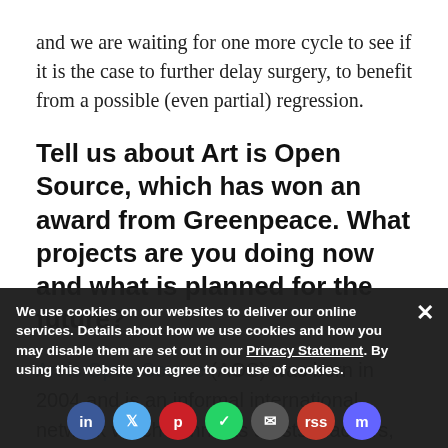and we are waiting for one more cycle to see if it is the case to further delay surgery, to benefit from a possible (even partial) regression.
Tell us about Art is Open Source, which has won an award from Greenpeace. What projects are you doing now and what is planned for the future?
Art is Open Source (AOS) was born in 2004 and is an informal international network which connects artists, hackers, designers, architects, street artists, performers, researchers, and academics to observe the ways in which human beings have...
We use cookies on our websites to deliver our online services. Details about how we use cookies and how you may disable them are set out in our Privacy Statement. By using this website you agree to our use of cookies.